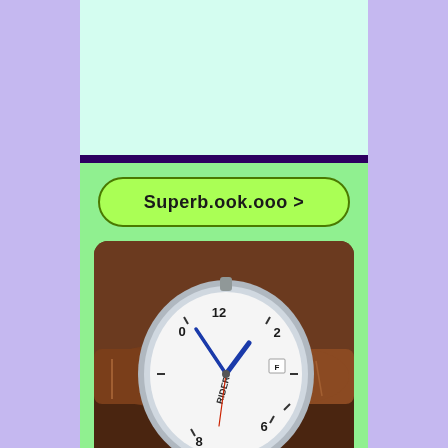[Figure (illustration): Light purple/lavender background with a centered vertical panel. Top portion is mint/light green, separated by a dark purple horizontal bar from a bright green lower section containing a URL button and a photo of a watch.]
Superb.ook.ooo >
[Figure (photo): Close-up photo of a RIDER brand analog wristwatch with white dial, blue hands, brown leather strap, placed on a reflective brown surface. The watch shows approximately 10:10 time with a date window.]